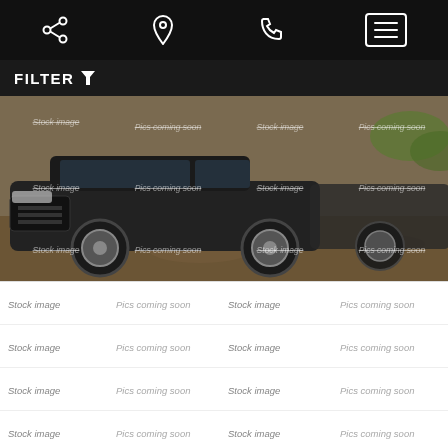Navigation bar with share, location, phone, and menu icons
FILTER
[Figure (photo): Front/side view of a dark SUV (2018 Jeep Compass) on a dirt/rocky outdoor background, overlaid with a grid of 'Stock image' and 'Pics coming soon' watermarks]
Stock image | Pics coming soon | Stock image | Pics coming soon
Stock image | Pics coming soon | Stock image | Pics coming soon
Stock image | Pics coming soon | Stock image | Pics coming soon
Stock image | Pics coming soon | Stock image | Pics coming soon
2018 Jeep Compass Latitude 4x4
47,750 miles
CALL FOR PRICE! (973) 536-0000